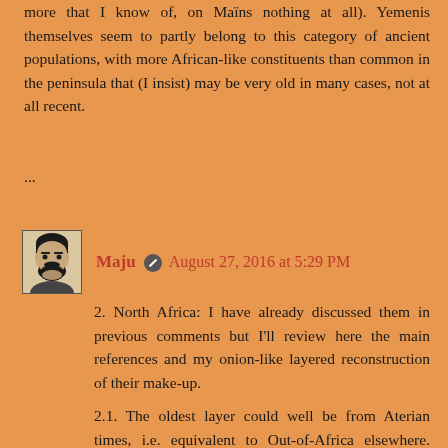more that I know of, on Mains nothing at all). Yemenis themselves seem to partly belong to this category of ancient populations, with more African-like constituents than common in the peninsula that (I insist) may be very old in many cases, not at all recent.
...
Maju  August 27, 2016 at 5:29 PM
2. North Africa: I have already discussed them in previous comments but I'll review here the main references and my onion-like layered reconstruction of their make-up.
2.1. The oldest layer could well be from Aterian times, i.e. equivalent to Out-of-Africa elsewhere. Tentatively detected as mtDNA (L3 and L2 specific subclades, see relevant link in point #1) and as distinct autosomal component (concentrated in South Morocco, which may have